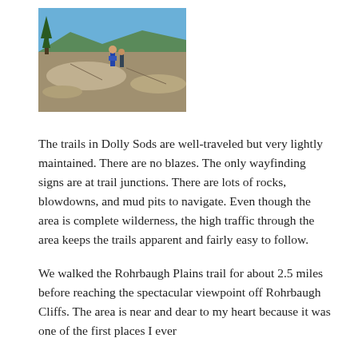[Figure (photo): Outdoor photo of hikers on rocky summit with trees and green mountain ridges in the background under a blue sky.]
The trails in Dolly Sods are well-traveled but very lightly maintained.  There are no blazes.  The only wayfinding signs are at trail junctions.  There are lots of rocks, blowdowns, and mud pits to navigate.  Even though the area is complete wilderness, the high traffic through the area keeps the trails apparent and fairly easy to follow.
We walked the Rohrbaugh Plains trail for about 2.5 miles before reaching the spectacular viewpoint off Rohrbaugh Cliffs.  The area is near and dear to my heart because it was one of the first places I ever